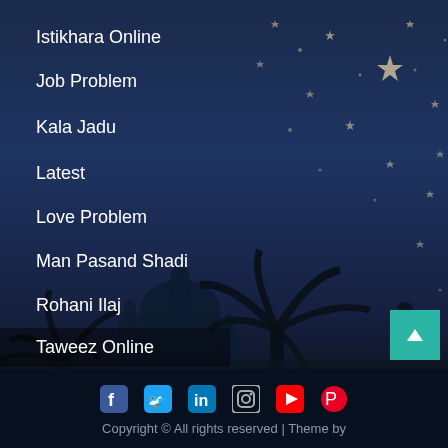[Figure (illustration): Dark blue night sky background with scattered star shapes and silhouettes of mosque minarets and palm trees]
Istikhara Online
Job Problem
Kala Jadu
Latest
Love Problem
Man Pasand Shadi
Rohani Ilaj
Taweez Online
Uncategorized
Wazifa
[Figure (infographic): Social media icons row: Facebook, Twitter, LinkedIn, Instagram, YouTube, Pinterest]
Copyright © All rights reserved | Theme by